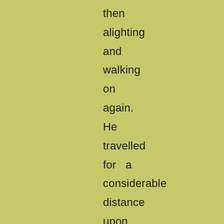then alighting and walking on again. He travelled for a considerable distance upon the roof of a stagecoach, which came up